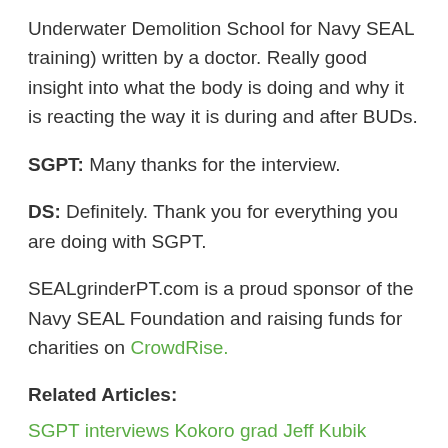Underwater Demolition School for Navy SEAL training) written by a doctor. Really good insight into what the body is doing and why it is reacting the way it is during and after BUDs.
SGPT: Many thanks for the interview.
DS: Definitely. Thank you for everything you are doing with SGPT.
SEALgrinderPT.com is a proud sponsor of the Navy SEAL Foundation and raising funds for charities on CrowdRise.
Related Articles:
SGPT interviews Kokoro grad Jeff Kubik